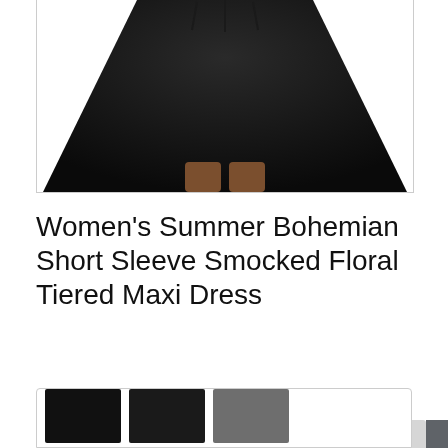[Figure (photo): Bottom portion of a black dress/skirt on a model, showing flared skirt shape and feet/shoes at the bottom, cropped in a product listing card]
Women's Summer Bohemian Short Sleeve Smocked Floral Tiered Maxi Dress
#ad
As an Amazon Associate I earn from qualifying purchases. This website uses the only necessary cookies to ensure you get the best experience on our website. More information
[Figure (photo): Bottom thumbnails of black dress product images, partially visible at the bottom of the page]